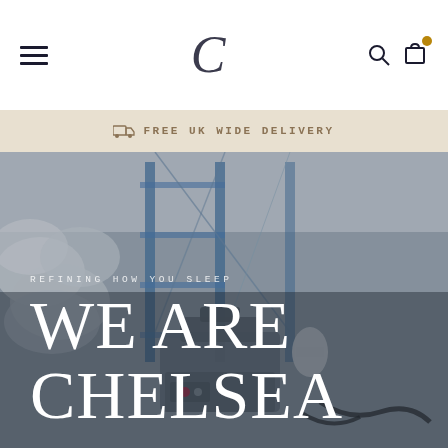Navigation bar with hamburger menu, C logo, search and cart icons
FREE UK WIDE DELIVERY
[Figure (photo): Industrial factory interior with blue steel shelving racks, white pillow/textile rolls in background, sewing/textile machinery in foreground, blurred depth-of-field effect]
REFINING HOW YOU SLEEP
WE ARE CHELSEA